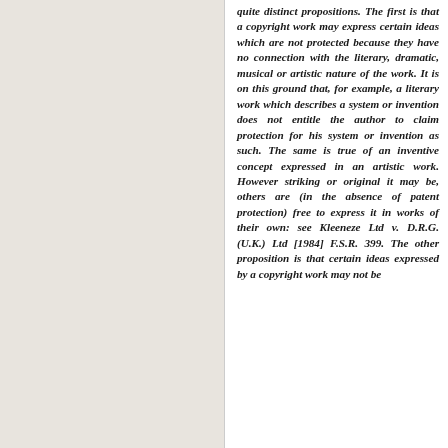quite distinct propositions. The first is that a copyright work may express certain ideas which are not protected because they have no connection with the literary, dramatic, musical or artistic nature of the work. It is on this ground that, for example, a literary work which describes a system or invention does not entitle the author to claim protection for his system or invention as such. The same is true of an inventive concept expressed in an artistic work. However striking or original it may be, others are (in the absence of patent protection) free to express it in works of their own: see Kleeneze Ltd v. D.R.G. (U.K.) Ltd [1984] F.S.R. 399. The other proposition is that certain ideas expressed by a copyright work may not be